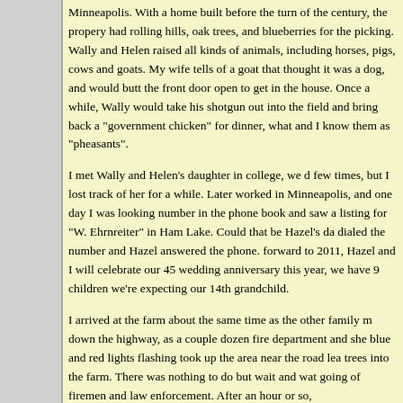Minneapolis. With a home built before the turn of the century, the propery had rolling hills, oak trees, and blueberries for the picking. Wally and Helen raised all kinds of animals, including horses, pigs, cows and goats. My wife tells of a goat that thought it was a dog, and would butt the front door open to get in the house. Once a while, Wally would take his shotgun out into the field and bring back a "government chicken" for dinner, what and I know them as "pheasants".
I met Wally and Helen's daughter in college, we dated a few times, but I lost track of her for a while. Later I worked in Minneapolis, and one day I was looking up a number in the phone book and saw a listing for "W. Ehrnreiter" in Ham Lake. Could that be Hazel's dad? I dialed the number and Hazel answered the phone. Fast forward to 2011, Hazel and I will celebrate our 45th wedding anniversary this year, we have 9 children and we're expecting our 14th grandchild.
I arrived at the farm about the same time as the other family members, down the highway, as a couple dozen fire department and sheriff's blue and red lights flashing took up the area near the road leading through trees into the farm. There was nothing to do but wait and watch the going of firemen and law enforcement. After an hour or so,